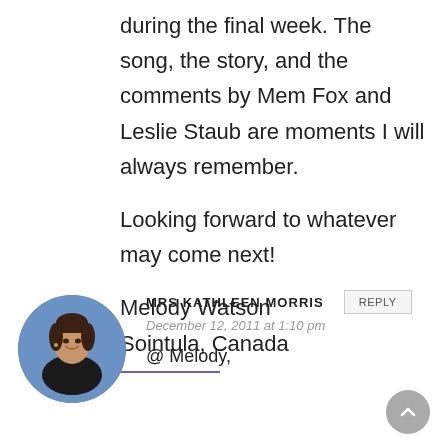during the final week. The song, the story, and the comments by Mem Fox and Leslie Staub are moments I will always remember.
Looking forward to whatever may come next!
Melody Watson
Sointula, Canada
MRS KATHLEEN MORRIS
December 12, 2011 at 1:10 pm
[Figure (photo): Circular avatar photo of Mrs Kathleen Morris, a woman with dark hair wearing a black top against a blue background.]
@ Melody,